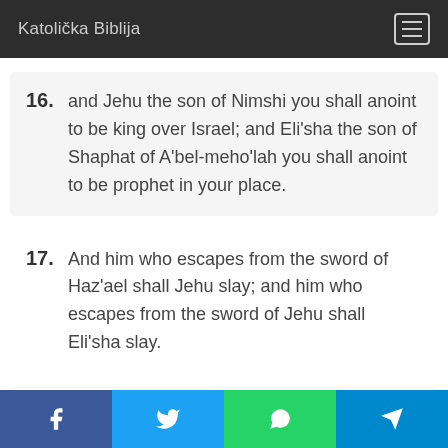Katolička Biblija
16. and Jehu the son of Nimshi you shall anoint to be king over Israel; and Eli'sha the son of Shaphat of A'bel-meho'lah you shall anoint to be prophet in your place.
17. And him who escapes from the sword of Haz'ael shall Jehu slay; and him who escapes from the sword of Jehu shall Eli'sha slay.
18. Yet I will leave seven thousand in Israel...